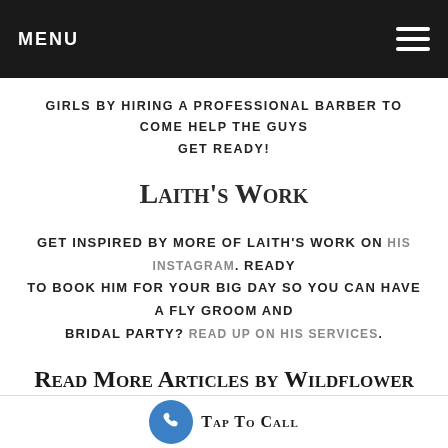MENU
GIRLS BY HIRING A PROFESSIONAL BARBER TO COME HELP THE GUYS GET READY!
Laith's Work
Get inspired by more of Laith's work on his instagram. Ready to book him for your big day so you can have a fly groom and bridal party? Read up on his services.
Read More Articles by Wildflower
Check out a vendor party we hosted, get the latest on some real weddings we've coordinated, or meet the wedding planners on our team!
Tap To Call